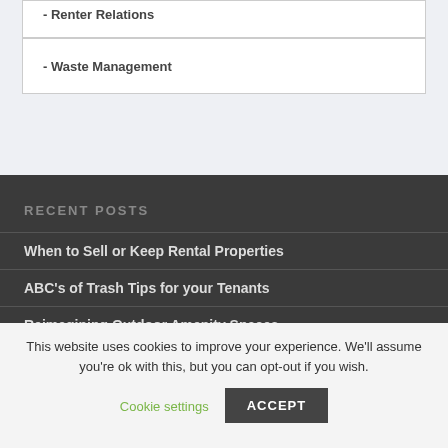- Renter Relations
- Waste Management
RECENT POSTS
When to Sell or Keep Rental Properties
ABC's of Trash Tips for your Tenants
Reimagining Outdoor Amenity Spaces
This website uses cookies to improve your experience. We'll assume you're ok with this, but you can opt-out if you wish.
Cookie settings  ACCEPT